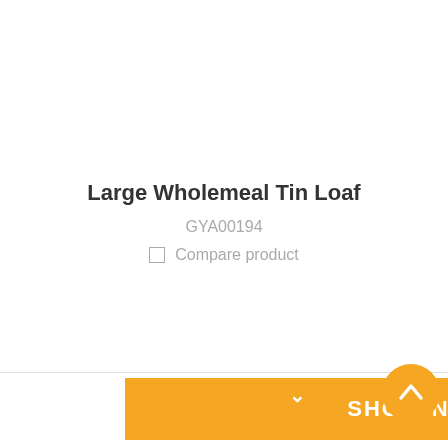Large Wholemeal Tin Loaf
GYA00194
☐ Compare product
SHOW NEXT 12 PRODUCTS